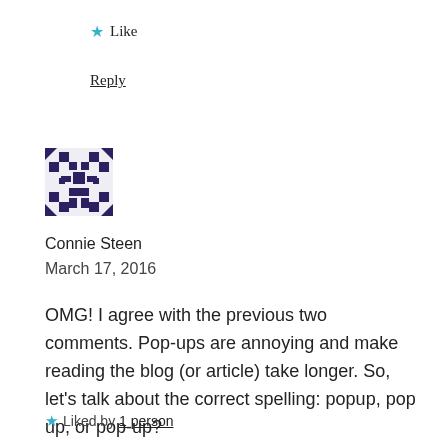★ Like
Reply
[Figure (illustration): Avatar identicon image — geometric pixel pattern in dark purple/navy on light background]
Connie Steen
March 17, 2016
OMG! I agree with the previous two comments. Pop-ups are annoying and make reading the blog (or article) take longer. So, let's talk about the correct spelling: popup, pop up, or pop-up?
★ Liked by 1 person